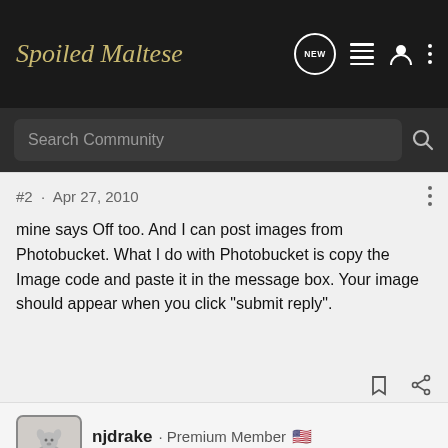Spoiled Maltese
Search Community
#2 · Apr 27, 2010
mine says Off too. And I can post images from Photobucket. What I do with Photobucket is copy the Image code and paste it in the message box. Your image should appear when you click "submit reply".
njdrake · Premium Member 🇺🇸
Joined Apr 23, 2007 · 8,623 Posts
Discussion Starter · #3 · Apr 27, 2010